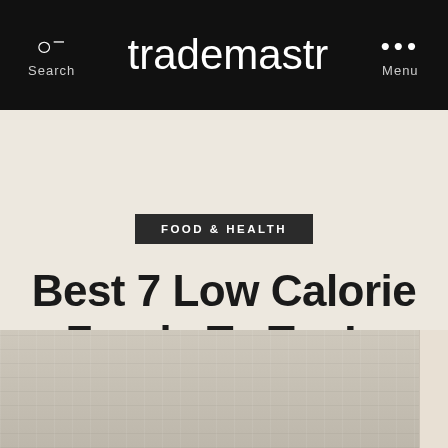Search  trademastr  Menu
FOOD & HEALTH
Best 7 Low Calorie Foods To Try In 2022
[Figure (photo): Close-up photo of a linen or fabric textile surface with natural woven texture, light beige/cream color, with a wooden element visible on the right edge.]